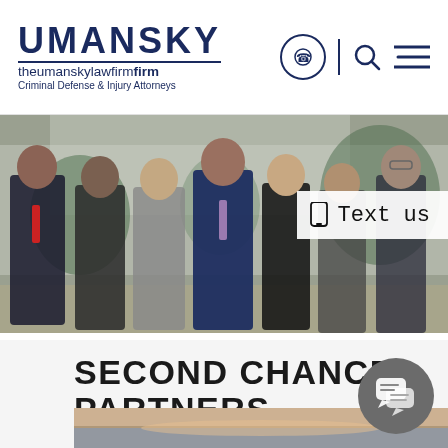UMANSKY theumanskylawfirm Criminal Defense & Injury Attorneys
[Figure (photo): Group photo of seven attorneys in business attire standing in front of a building with greenery]
Text us
SECOND CHANCE PARTNERS
[Figure (photo): Partial bottom image with sky/horizon scene]